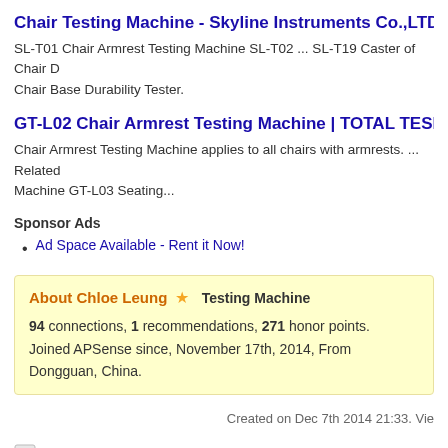Chair Testing Machine - Skyline Instruments Co.,LTD
SL-T01 Chair Armrest Testing Machine SL-T02 ... SL-T19 Caster of Chair D Chair Base Durability Tester.
GT-L02 Chair Armrest Testing Machine | TOTAL TESITNG SOLUTI
Chair Armrest Testing Machine applies to all chairs with armrests. ... Related Machine GT-L03 Seating...
Sponsor Ads
Ad Space Available - Rent it Now!
About Chloe Leung ★   Testing Machine
94 connections, 1 recommendations, 271 honor points.
Joined APSense since, November 17th, 2014, From Dongguan, China.
Created on Dec 7th 2014 21:33. Vie
Share on APSense
Comments